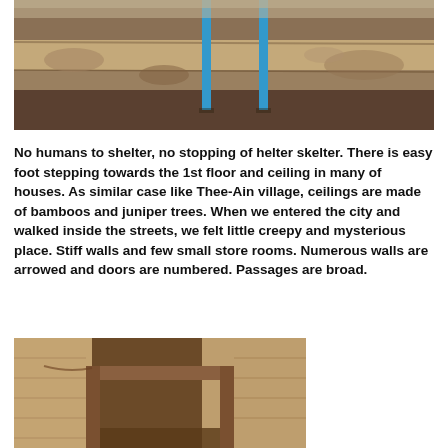[Figure (photo): Excavation site showing a cross-section of layered earth/soil with blue vertical measuring poles/stakes in the center. Sandy and earthy tones throughout.]
No humans to shelter, no stopping of helter skelter. There is easy foot stepping towards the 1st floor and ceiling in many of houses. As similar case like Thee-Ain village, ceilings are made of bamboos and juniper trees. When we entered the city and walked inside the streets, we felt little creepy and mysterious place. Stiff walls and few small store rooms. Numerous walls are arrowed and doors are numbered. Passages are broad.
[Figure (photo): Stone/brick ruins showing a doorway or passage opening through thick stone walls. Sandy tan and brown tones. Archaeological site interior view.]